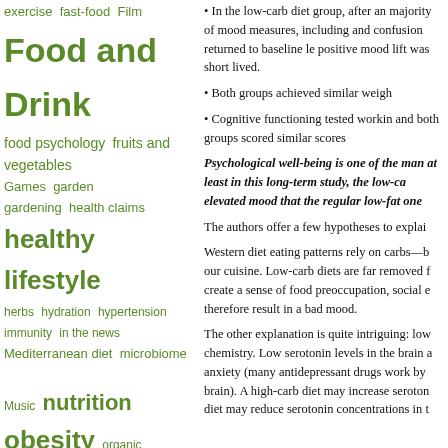exercise fast-food Film Food and Drink food psychology fruits and vegetables Games garden gardening health claims healthy lifestyle herbs hydration hypertension immunity in the news Mediterranean diet microbiome Music nutrition obesity organic parenting positivity processed food pulses recipes salt school lunch Science sleep social media spice Sports sugar sustainability sweeteners Television trends vegan vegetarian vitamins Web/Tech Weblogs weight-loss wellness whole grain
• In the low-carb diet group, after an majority of mood measures, including and confusion returned to baseline le positive mood lift was short lived.
• Both groups achieved similar weigh
• Cognitive functioning tested workin and both groups scored similar scores
Psychological well-being is one of the man at least in this long-term study, the low-ca elevated mood that the regular low-fat one
The authors offer a few hypotheses to explai
Western diet eating patterns rely on carbs—b our cuisine. Low-carb diets are far removed f create a sense of food preoccupation, social e therefore result in a bad mood.
The other explanation is quite intriguing: low chemistry. Low serotonin levels in the brain a anxiety (many antidepressant drugs work by brain). A high-carb diet may increase seroton diet may reduce serotonin concentrations in t
Search